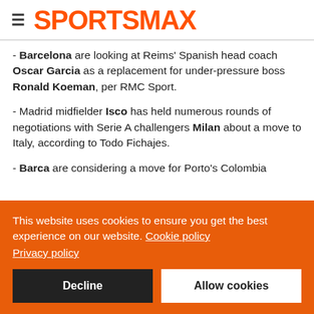SPORTSMAX
- Barcelona are looking at Reims' Spanish head coach Oscar Garcia as a replacement for under-pressure boss Ronald Koeman, per RMC Sport.
- Madrid midfielder Isco has held numerous rounds of negotiations with Serie A challengers Milan about a move to Italy, according to Todo Fichajes.
- Barca are considering a move for Porto's Colombia
This website uses cookies to ensure you get the best experience on our website. Cookie policy
Privacy policy
Decline | Allow cookies